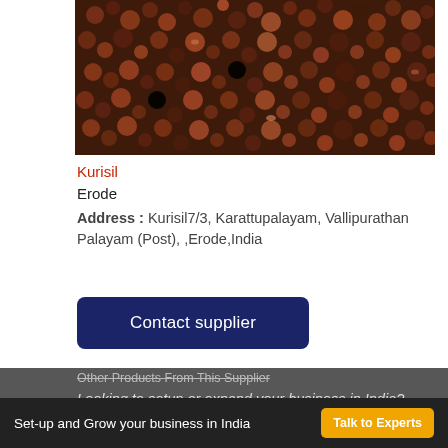[Figure (photo): Close-up photo of small dark reddish-brown spice seeds (possibly Sichuan pepper or similar spice)]
Kurisil
Erode
Address : Kurisil7/3, Karattupalayam, Vallipurathan Palayam (Post), ,Erode,India
Contact supplier
Other Products From This Supplier
Looking to setup or expand your business in India?
Set-up and Grow your business in India   Talk to Experts